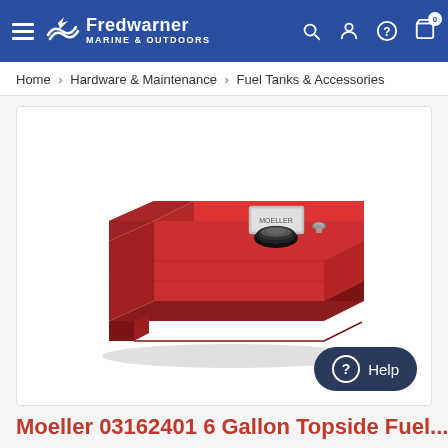Fredwarner Marine & Outdoors
Home › Hardware & Maintenance › Fuel Tanks & Accessories
[Figure (photo): Red plastic marine fuel tank, rectangular with stepped top profile, black screw-on cap, and metal fittings on top surface]
Moeller 03162401 6 Gallon Topside Fuel...